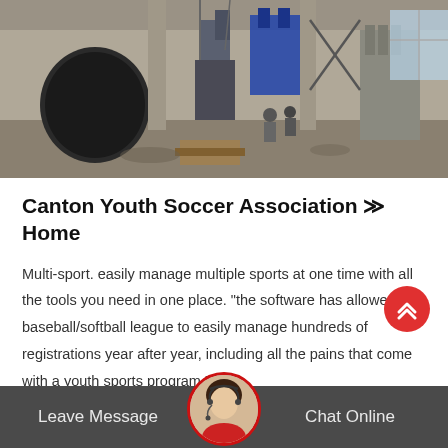[Figure (photo): Industrial factory interior with large cylindrical machinery, equipment and workers visible in a large warehouse space with natural lighting from windows]
Canton Youth Soccer Association >> Home
Multi-sport. easily manage multiple sports at one time with all the tools you need in one place. “the software has allowed our baseball/softball league to easily manage hundreds of registrations year after year, including all the pains that come with a youth sports program.”. - .
Get Price +
Leave Message   Chat Online